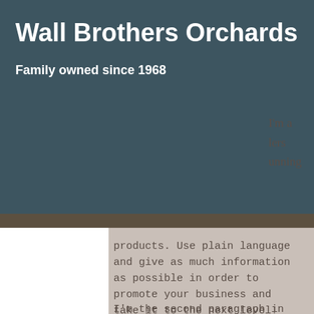Wall Brothers Orchards
Family owned since 1968
I'm a [...]lers [r]unning products. Use plain language and give as much information as possible in order to promote your business and take it to the next level!
I'm the second paragraph in your Wholesale Inquiries section. Click here to add your own text and edit me. It's easy. Just click "Edit Text" or double click me to add details about your policy and make changes to the font. I'm a great place for you to tell a story and let your users know a little